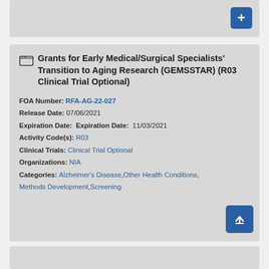[Figure (screenshot): Top gray card with a blue plus button in the top-right corner]
Grants for Early Medical/Surgical Specialists' Transition to Aging Research (GEMSSTAR) (R03 Clinical Trial Optional)
FOA Number: RFA-AG-22-027
Release Date: 07/06/2021
Expiration Date: Expiration Date: 11/03/2021
Activity Code(s): R03
Clinical Trials: Clinical Trial Optional
Organizations: NIA
Categories: Alzheimer's Disease, Other Health Conditions, Methods Development, Screening
[Figure (screenshot): Bottom partial gray card, partially visible at bottom of page]